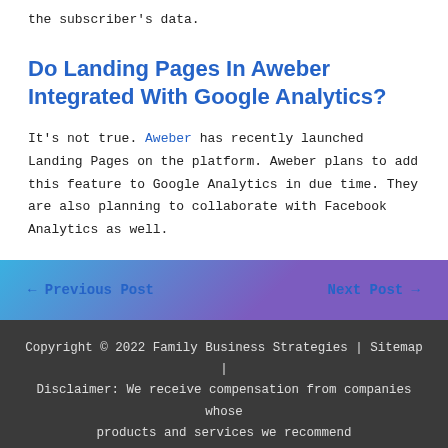the subscriber's data.
Do Landing Pages In Aweber Integrated With Google Analytics?
It's not true. Aweber has recently launched Landing Pages on the platform. Aweber plans to add this feature to Google Analytics in due time. They are also planning to collaborate with Facebook Analytics as well.
← Previous Post    Next Post →
Copyright © 2022 Family Business Strategies | Sitemap | Disclaimer: We receive compensation from companies whose products and services we recommend